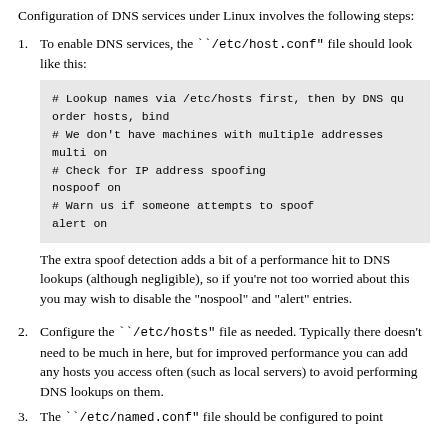Configuration of DNS services under Linux involves the following steps:
To enable DNS services, the ``/etc/host.conf" file should look like this:
# Lookup names via /etc/hosts first, then by DNS qu...
order hosts, bind
# We don't have machines with multiple addresses
multi on
# Check for IP address spoofing
nospoof on
# Warn us if someone attempts to spoof
alert on
The extra spoof detection adds a bit of a performance hit to DNS lookups (although negligible), so if you're not too worried about this you may wish to disable the "nospool" and "alert" entries.
Configure the ``/etc/hosts" file as needed. Typically there doesn't need to be much in here, but for improved performance you can add any hosts you access often (such as local servers) to avoid performing DNS lookups on them.
The ``/etc/named.conf" file should be configured to point...